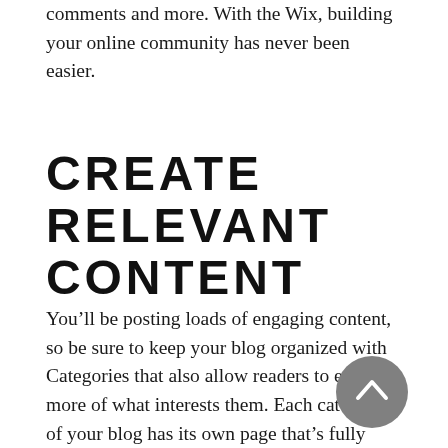comments and more. With the Wix, building your online community has never been easier.
CREATE RELEVANT CONTENT
You’ll be posting loads of engaging content, so be sure to keep your blog organized with Categories that also allow readers to explore more of what interests them. Each category of your blog has its own page that’s fully customizable. Add a catchy title, a brief description and a beautiful image to the category page header to truly make
[Figure (other): Gray circular scroll-to-top button with upward chevron arrow]